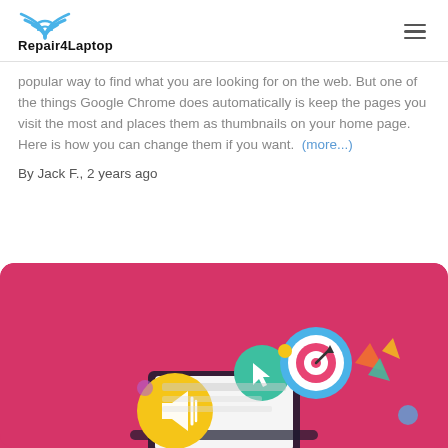Repair4Laptop
popular way to find what you are looking for on the web. But one of the things Google Chrome does automatically is keep the pages you visit the most and places them as thumbnails on your home page. Here is how you can change them if you want. (more...)
By Jack F., 2 years ago
[Figure (illustration): Marketing/digital illustration on a pink/red background featuring icons including a megaphone, cursor arrow in a green circle, target/bullseye in a blue circle, a laptop, and various decorative elements in orange, teal, and blue.]